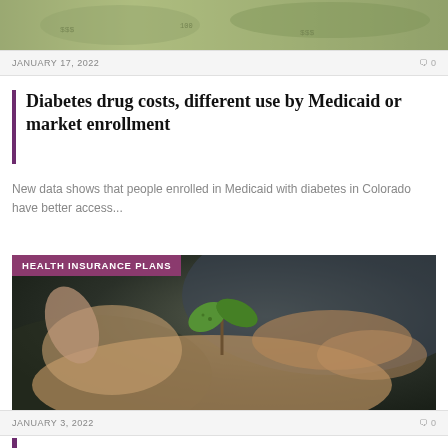[Figure (photo): Top cropped image showing US dollar bills fanned out]
JANUARY 17, 2022   🗨 0
Diabetes drug costs, different use by Medicaid or market enrollment
New data shows that people enrolled in Medicaid with diabetes in Colorado have better access...
[Figure (photo): Hand holding a small green plant seedling against a blurred dark background, with HEALTH INSURANCE PLANS badge overlay]
HEALTH INSURANCE PLANS
JANUARY 3, 2022   🗨 0